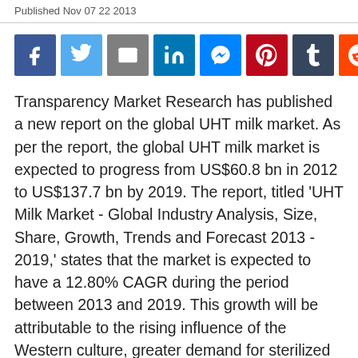Published Nov 07 22 2013
[Figure (infographic): Row of social media sharing buttons: Facebook (blue), Twitter (light blue), Email (gray), LinkedIn (blue), Messenger (blue), Pinterest (red), Tumblr (dark blue), Reddit (orange), Share (green)]
Transparency Market Research has published a new report on the global UHT milk market. As per the report, the global UHT milk market is expected to progress from US$60.8 bn in 2012 to US$137.7 bn by 2019. The report, titled 'UHT Milk Market - Global Industry Analysis, Size, Share, Growth, Trends and Forecast 2013 - 2019,' states that the market is expected to have a 12.80% CAGR during the period between 2013 and 2019. This growth will be attributable to the rising influence of the Western culture, greater demand for sterilized milk, less refrigeration space for preserving non-UHT milk,